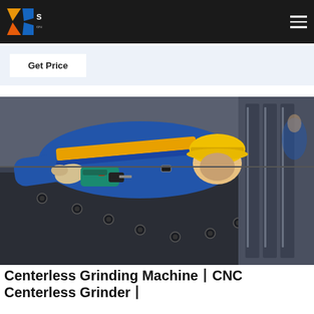engine type electric pneumatic batteries hydraulic As well corner eccentric direct brush and others can be uses in everyday life and in the professional sphere
[Figure (logo): SKS crusher expert logo with orange/yellow geometric diamond shape on dark background]
Get Price
[Figure (photo): Worker in blue and yellow work overalls and yellow hard hat using a power drill on industrial machinery with bolts, lying flat on dark metal surface in a factory]
Centerless Grinding Machine丨CNC Centerless Grinder丨